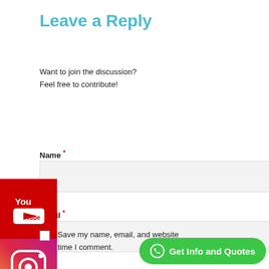Leave a Reply
Want to join the discussion?
Feel free to contribute!
Name *
Email *
Website
Save my name, email, and website time I comment.
[Figure (logo): YouTube red icon with play button]
[Figure (logo): Instagram gradient icon with camera symbol]
[Figure (other): Green WhatsApp Get Info and Quotes button]